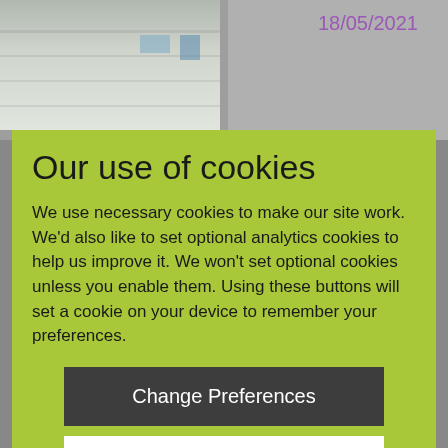[Figure (screenshot): Background screenshot of a website showing a building photo on the left, a date '18/05/2021' in purple on the top right, and '10/05/2021' at the bottom right, with a colorful NHS-style logo at the bottom left.]
Our use of cookies
We use necessary cookies to make our site work. We'd also like to set optional analytics cookies to help us improve it. We won't set optional cookies unless you enable them. Using these buttons will set a cookie on your device to remember your preferences.
Change Preferences
Accept All